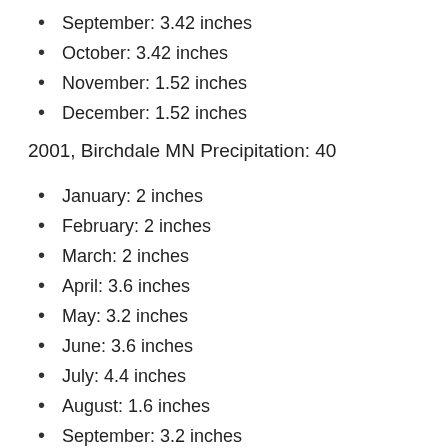September: 3.42 inches
October: 3.42 inches
November: 1.52 inches
December: 1.52 inches
2001, Birchdale MN Precipitation: 40
January: 2 inches
February: 2 inches
March: 2 inches
April: 3.6 inches
May: 3.2 inches
June: 3.6 inches
July: 4.4 inches
August: 1.6 inches
September: 3.2 inches
October: 4 inches
November: 1.2 inches
December: 1.6 inches